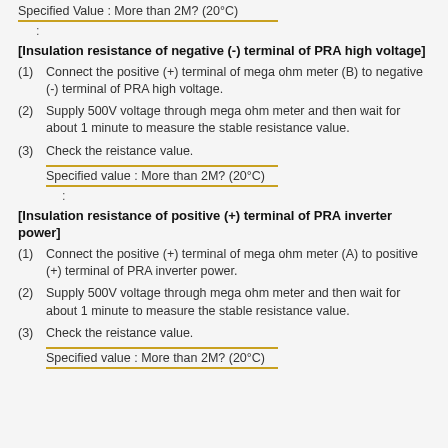Specified Value : More than 2MΩ (20°C)
:
[Insulation resistance of negative (-) terminal of PRA high voltage]
(1) Connect the positive (+) terminal of mega ohm meter (B) to negative (-) terminal of PRA high voltage.
(2) Supply 500V voltage through mega ohm meter and then wait for about 1 minute to measure the stable resistance value.
(3) Check the reistance value.
Specified value : More than 2MΩ (20°C)
:
[Insulation resistance of positive (+) terminal of PRA inverter power]
(1) Connect the positive (+) terminal of mega ohm meter (A) to positive (+) terminal of PRA inverter power.
(2) Supply 500V voltage through mega ohm meter and then wait for about 1 minute to measure the stable resistance value.
(3) Check the reistance value.
Specified value : More than 2MΩ (20°C)